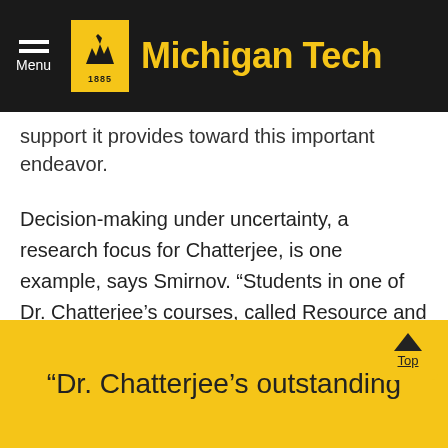Michigan Tech
support it provides toward this important endeavor.
Decision-making under uncertainty, a research focus for Chatterjee, is one example, says Smirnov. “Students in one of Dr. Chatterjee’s courses, called Resource and Reserve Estimation, first learn how to quantify uncertainty based on spatial and temporal data. In his next course, Mine Planning and Design, they learn how to integrate that uncertainty into their mine plan using stochastic optimization methods.”
“Dr. Chatterjee’s outstanding